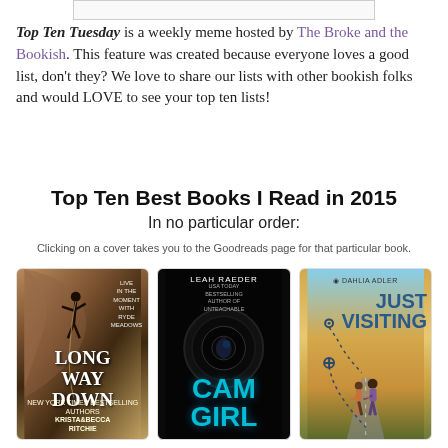Top Ten Tuesday is a weekly meme hosted by The Broke and the Bookish. This feature was created because everyone loves a good list, don't they? We love to share our lists with other bookish folks and would LOVE to see your top ten lists!
Top Ten Best Books I Read in 2015
In no particular order:
Clicking on a cover takes you to the Goodreads page for that particular book.
[Figure (photo): Book cover of Long Way Down by Krista & Becca Ritchie — shows a rock climber on a cliff face]
[Figure (photo): Book cover of Cam Girl by Leah Raeder — dark cover with camera lens and blue cyan title text]
[Figure (photo): Book cover of Just Visiting by Dahlia Adler — shows two girls walking on a road holding hands]